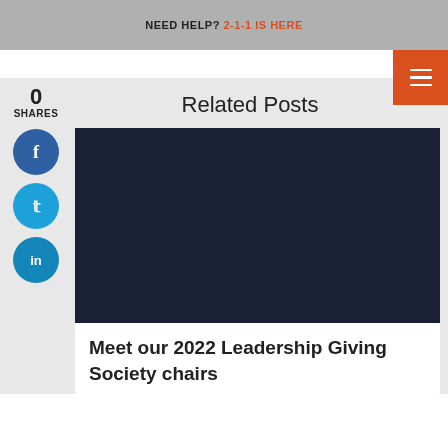NEED HELP? 2-1-1 IS HERE
[Figure (screenshot): Orange hamburger menu button in upper right corner]
0
SHARES
[Figure (illustration): Facebook share button (blue circle with f icon)]
[Figure (illustration): Twitter share button (blue circle with bird icon)]
[Figure (illustration): LinkedIn share button (blue circle with in icon)]
Related Posts
[Figure (photo): Dark navy/black image placeholder for article thumbnail]
Meet our 2022 Leadership Giving Society chairs